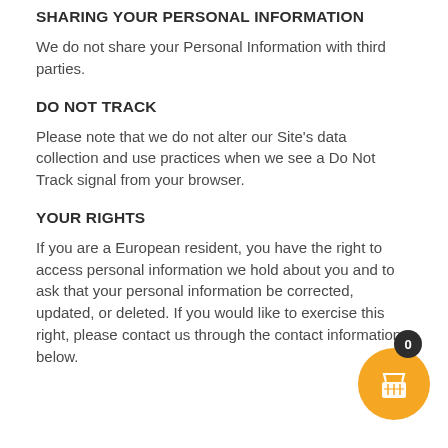SHARING YOUR PERSONAL INFORMATION
We do not share your Personal Information with third parties.
DO NOT TRACK
Please note that we do not alter our Site's data collection and use practices when we see a Do Not Track signal from your browser.
YOUR RIGHTS
If you are a European resident, you have the right to access personal information we hold about you and to ask that your personal information be corrected, updated, or deleted. If you would like to exercise this right, please contact us through the contact information below.